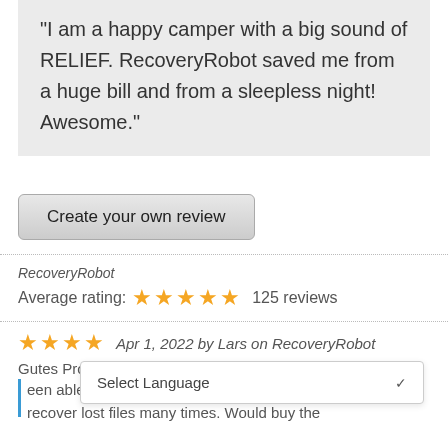"I am a happy camper with a big sound of RELIEF. RecoveryRobot saved me from a huge bill and from a sleepless night! Awesome."
Create your own review
RecoveryRobot
Average rating: ★★★★★ 125 reviews
★★★★ Apr 1, 2022 by Lars on RecoveryRobot
Gutes Programm
Select Language
een able to help me recover lost files many times. Would buy the